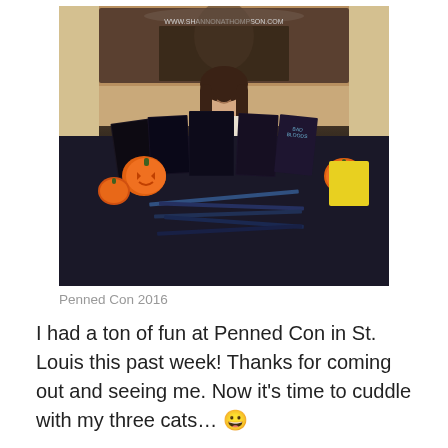[Figure (photo): A young woman with long dark hair smiling behind a table displaying several book covers (including 'Bad Bloods'), bookmarks/cards, and Halloween pumpkin decorations. A banner with 'www.shannonathompson.com' is visible behind her.]
Penned Con 2016
I had a ton of fun at Penned Con in St. Louis this past week! Thanks for coming out and seeing me. Now it's time to cuddle with my three cats... 😀
Share this: